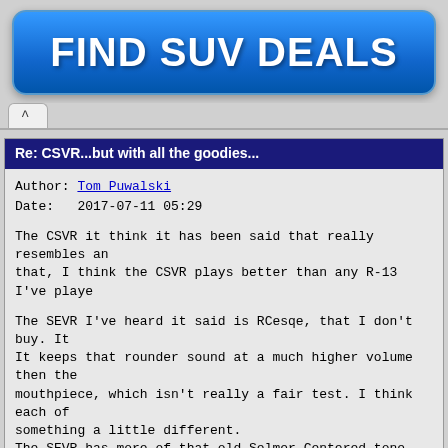[Figure (other): Blue rounded rectangle advertisement banner with white bold text reading FIND SUV DEALS]
Re: CSVR...but with all the goodies...
Author: Tom Puwalski
Date:   2017-07-11 05:29
The CSVR it think it has been said that really resembles an that, I think the CSVR plays better than any R-13 I've playe

The SEVR I've heard it said is RCesqe, that I don't buy. It It keeps that rounder sound at a much higher volume then the mouthpiece, which isn't really a fair test. I think each of something a little different.
The SEVR has more of that old Selmer Centered tone, openness wrangle than the old CT.

Tommorow I'll record Uhl 2 which is a staccato study and I'l a different kind of playing.

I still don't know which one I like better, when I play one sounding like me.

Tom Puwalski